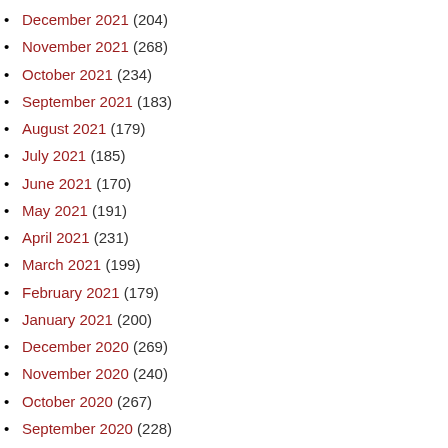December 2021 (204)
November 2021 (268)
October 2021 (234)
September 2021 (183)
August 2021 (179)
July 2021 (185)
June 2021 (170)
May 2021 (191)
April 2021 (231)
March 2021 (199)
February 2021 (179)
January 2021 (200)
December 2020 (269)
November 2020 (240)
October 2020 (267)
September 2020 (228)
August 2020 (190)
July 2020 (231)
June 2020 (63)
May 2020 (118)
April 2020 (26)